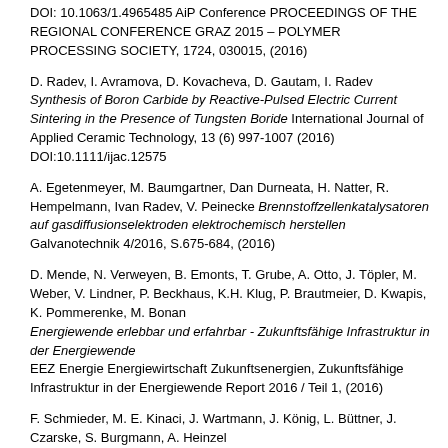DOI: 10.1063/1.4965485 AiP Conference PROCEEDINGS OF THE REGIONAL CONFERENCE GRAZ 2015 – POLYMER PROCESSING SOCIETY, 1724, 030015, (2016)
D. Radev, I. Avramova, D. Kovacheva, D. Gautam, I. Radev Synthesis of Boron Carbide by Reactive-Pulsed Electric Current Sintering in the Presence of Tungsten Boride International Journal of Applied Ceramic Technology, 13 (6) 997-1007 (2016) DOI:10.1111/ijac.12575
A. Egetenmeyer, M. Baumgartner, Dan Durneata, H. Natter, R. Hempelmann, Ivan Radev, V. Peinecke Brennstoffzellenkatalysatoren auf gasdiffusionselektroden elektrochemisch herstellen Galvanotechnik 4/2016, S.675-684, (2016)
D. Mende, N. Verweyen, B. Emonts, T. Grube, A. Otto, J. Töpler, M. Weber, V. Lindner, P. Beckhaus, K.H. Klug, P. Brautmeier, D. Kwapis, K. Pommerenke, M. Bonan Energiewende erlebbar und erfahrbar - Zukunftsfähige Infrastruktur in der Energiewende EEZ Energie Energiewirtschaft Zukunftsenergien, Zukunftsfähige Infrastruktur in der Energiewende Report 2016 / Teil 1, (2016)
F. Schmieder, M. E. Kinaci, J. Wartmann, J. König, L. Büttner, J. Czarske, S. Burgmann, A. Heinzel Investigation of the flow field inside the manifold of a real operated fuel cell stack using optical measurements and Computational Fluid Mechanics Elsevier, Journal of Power Sources 304, S.155-163, (2016)
U. Gardemann, T. Hargitai Fuel cell systems and hydrogen supply for early markets